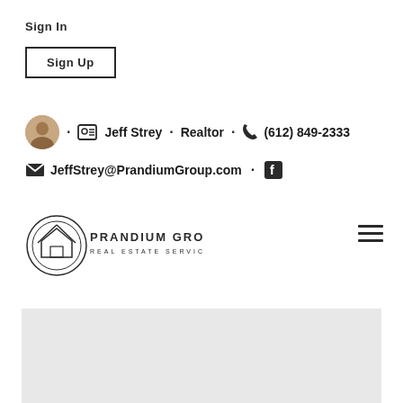Sign In
Sign Up
· Jeff Strey · Realtor · (612) 849-2333
JeffStrey@PrandiumGroup.com ·
[Figure (logo): Prandium Group Real Estate Services logo — circular emblem with house icon and text]
[Figure (other): Hamburger menu icon (three horizontal lines)]
[Figure (other): Grey rectangle placeholder image at bottom]